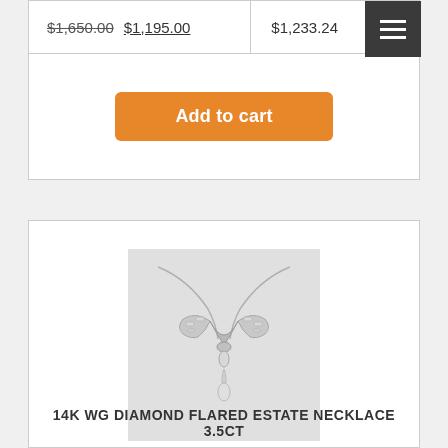$1,650.00 $1,195.00   $1,233.24
Add to cart
[Figure (photo): Diamond flared estate necklace in white gold, featuring a V-shaped design with a teardrop pendant, photographed on light grey background.]
14K WG DIAMOND FLARED ESTATE NECKLACE 3.5CT